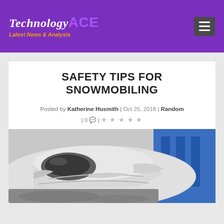TechnologyACE - Latest News & Analysis
SAFETY TIPS FOR SNOWMOBILING
Posted by Katherine Husmith | Oct 25, 2018 | Random | 0 💬 | ★★★★★
[Figure (photo): Close-up photo of a white snowmobile helmet/vehicle front, with partial blue signage visible in the background]